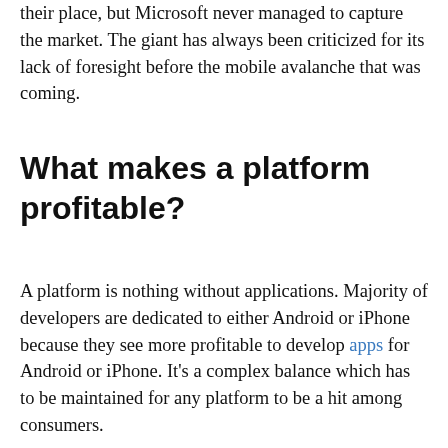their place, but Microsoft never managed to capture the market. The giant has always been criticized for its lack of foresight before the mobile avalanche that was coming.
What makes a platform profitable?
A platform is nothing without applications. Majority of developers are dedicated to either Android or iPhone because they see more profitable to develop apps for Android or iPhone. It's a complex balance which has to be maintained for any platform to be a hit among consumers.